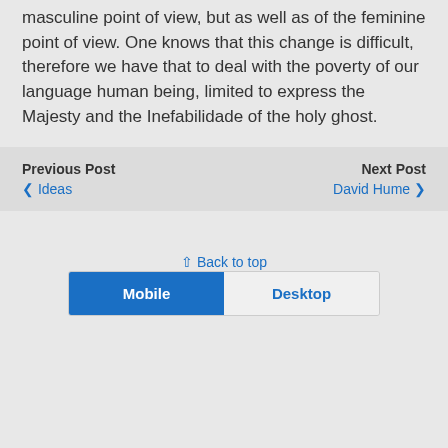masculine point of view, but as well as of the feminine point of view. One knows that this change is difficult, therefore we have that to deal with the poverty of our language human being, limited to express the Majesty and the Inefabilidade of the holy ghost.
Previous Post
< Ideas
Next Post
David Hume >
^ Back to top
Mobile   Desktop